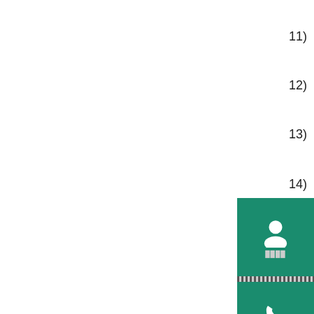11)
12)
13)
14)
[Figure (screenshot): Green button with white person/user icon and small label text in Chinese characters below]
[Figure (screenshot): Green button with white phone/call icon and small label text in Chinese characters below]
[Figure (screenshot): Gray button with minus and up-arrow icons]
1)
2)
3)
Eq
4)